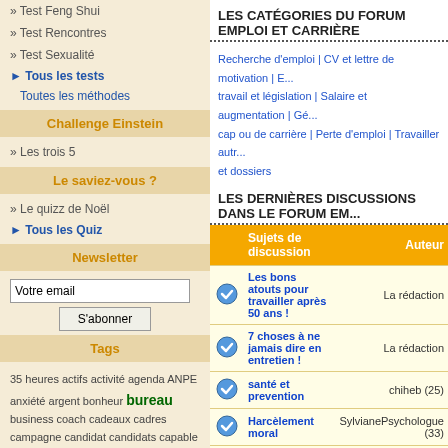» Test Feng Shui
» Test Rencontres
» Test Sexualité
▸ Tous les tests
Toutes les méthodes
Challenge Einstein
» Les trois 5
Le saviez-vous ?
» Le quizz de Noël
▸ Tous les Quiz
Newsletter
Votre email
S'abonner
Tags
35 heures actifs activité agenda ANPE anxiété argent bonheur bureau business coach cadeaux cadres campagne candidat candidats capable carrière célibataire charisme chef chef d'équipe chiffres choix clients collaborateurs
LES CATÉGORIES DU FORUM EMPLOI ET CARRIÈRE
Recherche d'emploi | CV et lettre de motivation | E... travail et législation | Salaire et augmentation | Gé... cap ou de carrière | Perte d'emploi | Travailler autr... et dossiers
LES DERNIÈRES DISCUSSIONS DANS LE FORUM EM...
| Sujets de discussion | Auteur |
| --- | --- |
| Les bons atouts pour travailler après 50 ans ! | La rédaction |
| 7 choses à ne jamais dire en entretien ! | La rédaction |
| santé et prevention | chiheb (25) |
| Harcèlement moral | SylvianePsychologue (33) |
| Comment aller travailler aux États-Unis ? | La rédaction |
| congé sabbatique | sabine (78) |
| 5 conseils pour mieux travailler avec les femmes | La rédaction |